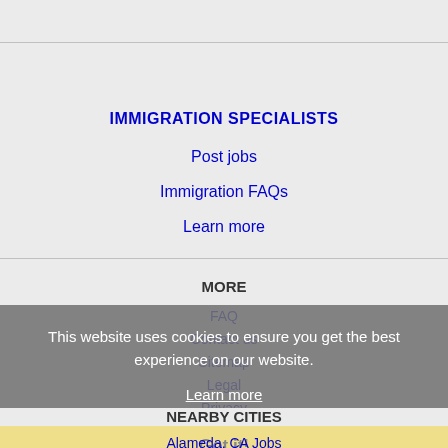IMMIGRATION SPECIALISTS
Post jobs
Immigration FAQs
Learn more
MORE
FAQ
Contact us
Sitemap
Legal
Privacy
This website uses cookies to ensure you get the best experience on our website.
Learn more
Got it!
NEARBY CITIES
Alameda, CA Jobs